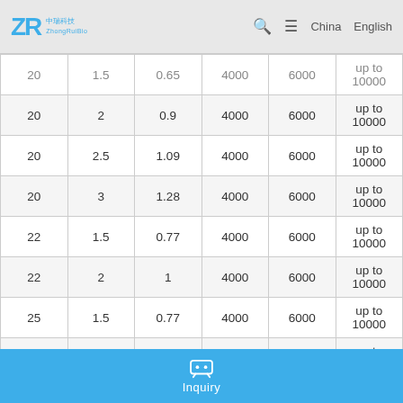ZR ZhongRuiBio — China  English
| 20 | 1.5 | 0.65 | 4000 | 6000 | up to 10000 |
| 20 | 2 | 0.9 | 4000 | 6000 | up to 10000 |
| 20 | 2.5 | 1.09 | 4000 | 6000 | up to 10000 |
| 20 | 3 | 1.28 | 4000 | 6000 | up to 10000 |
| 22 | 1.5 | 0.77 | 4000 | 6000 | up to 10000 |
| 22 | 2 | 1 | 4000 | 6000 | up to 10000 |
| 25 | 1.5 | 0.77 | 4000 | 6000 | up to 10000 |
| 25 | 2 | 1.15 | 4000 | 6000 | up to 10000 |
| 25 | 2.5 | 1.41 | 4000 | 6000 | up to 10000 |
| 25 | 3 | 1.65 | 4000 | 6000 | up to 10000 |
Inquiry